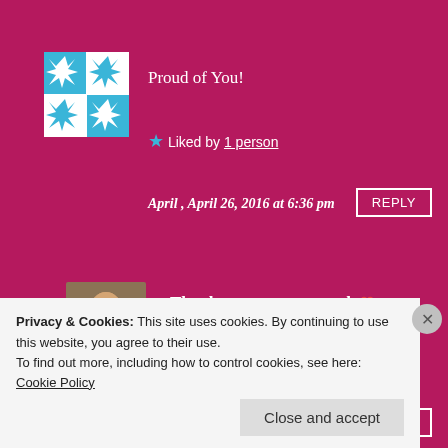[Figure (illustration): Quilted snowflake pattern avatar in blue and white]
Proud of You!
★ Liked by 1 person
April , April 26, 2016 at 6:36 pm
REPLY
[Figure (photo): Person avatar photo]
Thank you soooooo much ❤
★ Like
Danielle N Hall , April 26, 2016 at 6:37 pm
REPLY
Privacy & Cookies: This site uses cookies. By continuing to use this website, you agree to their use.
To find out more, including how to control cookies, see here: Cookie Policy
Close and accept